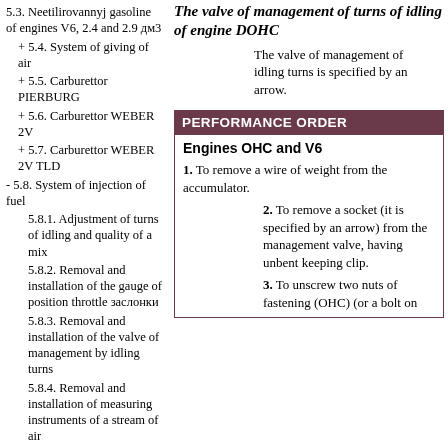5.3. Neetilirovannyj gasoline of engines V6, 2.4 and 2.9 дм3
+ 5.4. System of giving of air
+ 5.5. Carburettor PIERBURG
+ 5.6. Carburettor WEBER 2V
+ 5.7. Carburettor WEBER 2V TLD
- 5.8. System of injection of fuel
5.8.1. Adjustment of turns of idling and quality of a mix
5.8.2. Removal and installation of the gauge of position throttle заслонки
5.8.3. Removal and installation of the valve of management by idling turns
5.8.4. Removal and installation of measuring instruments of a stream of air
The valve of management of turns of idling of engine DOHC
The valve of management of idling turns is specified by an arrow.
PERFORMANCE ORDER
Engines OHC and V6
1. To remove a wire of weight from the accumulator.
2. To remove a socket (it is specified by an arrow) from the management valve, having unbent keeping clip.
3. To unscrew two nuts of fastening (OHC) (or a bolt on